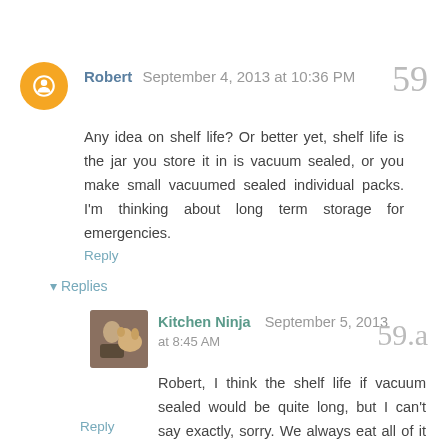Robert  September 4, 2013 at 10:36 PM
Any idea on shelf life? Or better yet, shelf life is the jar you store it in is vacuum sealed, or you make small vacuumed sealed individual packs. I'm thinking about long term storage for emergencies.
Reply
Replies
Kitchen Ninja  September 5, 2013 at 8:45 AM
Robert, I think the shelf life if vacuum sealed would be quite long, but I can't say exactly, sorry. We always eat all of it within a week or two because it's so yummy!
Reply